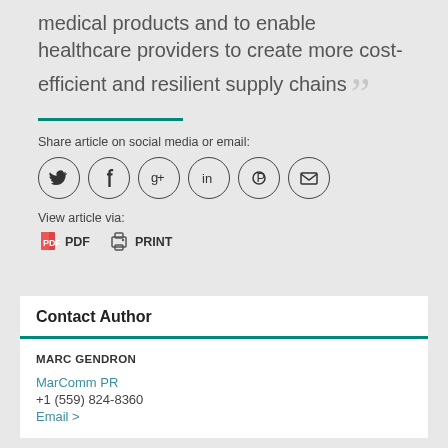medical products and to enable healthcare providers to create more cost-efficient and resilient supply chains
Share article on social media or email:
[Figure (infographic): Six circular social media/sharing icons: Twitter, Facebook, Google+, LinkedIn, Pinterest, Email]
View article via:
[Figure (infographic): PDF icon with label PDF and Print icon with label PRINT]
Contact Author
MARC GENDRON
MarComm PR
+1 (559) 824-8360
Email >